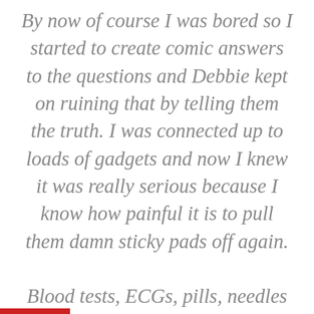By now of course I was bored so I started to create comic answers to the questions and Debbie kept on ruining that by telling them the truth. I was connected up to loads of gadgets and now I knew it was really serious because I know how painful it is to pull them damn sticky pads off again.

Blood tests, ECGs, pills, needles went on and on.